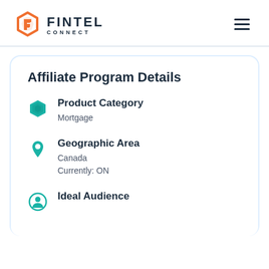[Figure (logo): Fintel Connect logo with orange hexagonal icon and dark text reading FINTEL CONNECT]
Affiliate Program Details
Product Category
Mortgage
Geographic Area
Canada
Currently: ON
Ideal Audience